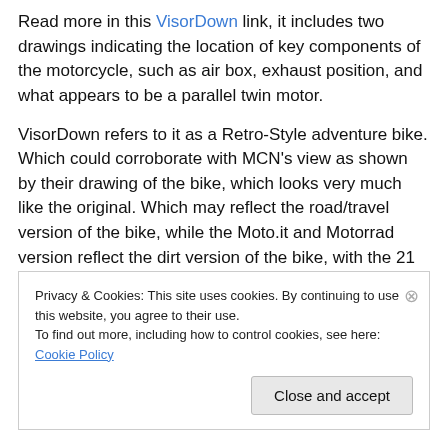Read more in this VisorDown link, it includes two drawings indicating the location of key components of the motorcycle, such as air box, exhaust position, and what appears to be a parallel twin motor.
VisorDown refers to it as a Retro-Style adventure bike. Which could corroborate with MCN's view as shown by their drawing of the bike, which looks very much like the original. Which may reflect the road/travel version of the bike, while the Moto.it and Motorrad version reflect the dirt version of the bike, with the 21 inch front wheel.
Privacy & Cookies: This site uses cookies. By continuing to use this website, you agree to their use. To find out more, including how to control cookies, see here: Cookie Policy